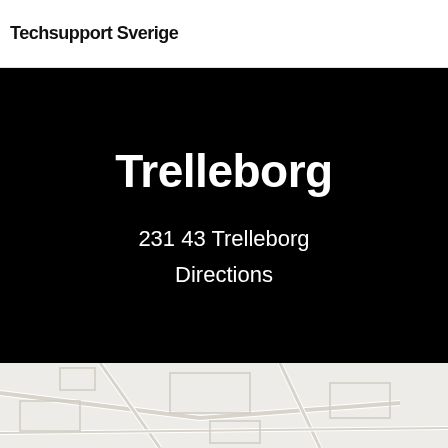Techsupport Sverige
Trelleborg
231 43 Trelleborg
Directions
[Figure (map): Street map of Trelleborg area showing roads and city blocks in light gray on white background, with zoom in (+) and zoom out (-) controls in the bottom right corner.]